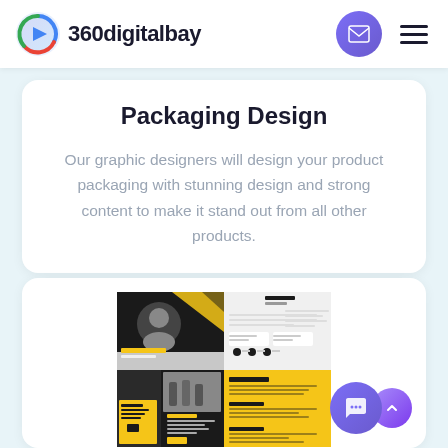360digitalbay
Packaging Design
Our graphic designers will design your product packaging with stunning design and strong content to make it stand out from all other products.
[Figure (illustration): A brochure/flyer design mockup showing black, yellow and white sections with a person's photo, corporate design elements, company text blocks, and images of office environments.]